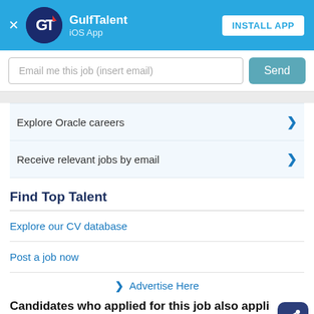[Figure (screenshot): GulfTalent iOS App banner with logo, app name, and INSTALL APP button]
Email me this job (insert email)
Send
Explore Oracle careers
Receive relevant jobs by email
Find Top Talent
Explore our CV database
Post a job now
> Advertise Here
Candidates who applied for this job also appli for: